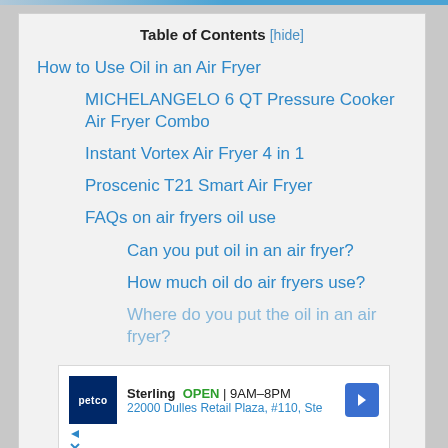Table of Contents [hide]
How to Use Oil in an Air Fryer
MICHELANGELO 6 QT Pressure Cooker Air Fryer Combo
Instant Vortex Air Fryer 4 in 1
Proscenic T21 Smart Air Fryer
FAQs on air fryers oil use
Can you put oil in an air fryer?
How much oil do air fryers use?
Where do you put the oil in an air fryer?
[Figure (other): Petco advertisement showing Sterling location, OPEN 9AM-8PM, 22000 Dulles Retail Plaza, #110, Ste]